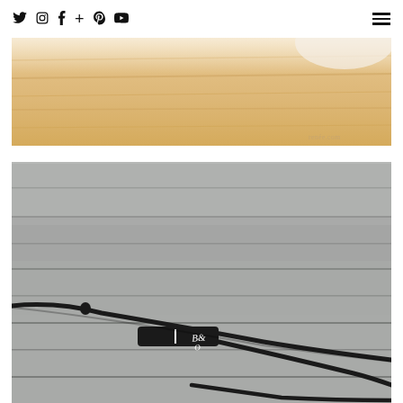Social media navigation bar with icons: Twitter, Instagram, Facebook, Plus, Pinterest, YouTube, and hamburger menu
[Figure (photo): Close-up photo of a warm-toned wooden surface / tabletop with soft focus and a faint watermark 'renée.com' in the lower right]
[Figure (photo): Close-up photo of a B&O (Bang & Olufsen) branded earphone cable and inline remote on a grey weathered wood surface]